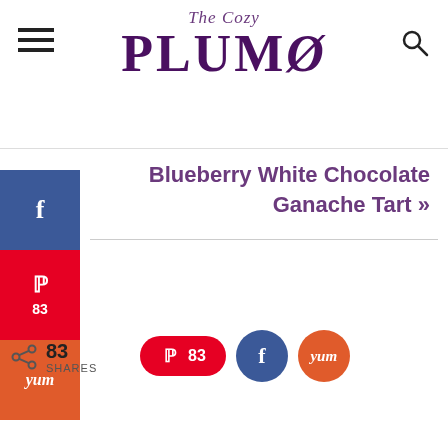The Cozy Plum
Blueberry White Chocolate Ganache Tart »
83 SHARES
[Figure (infographic): Social share bar with Pinterest (83), Facebook, and Yum buttons]